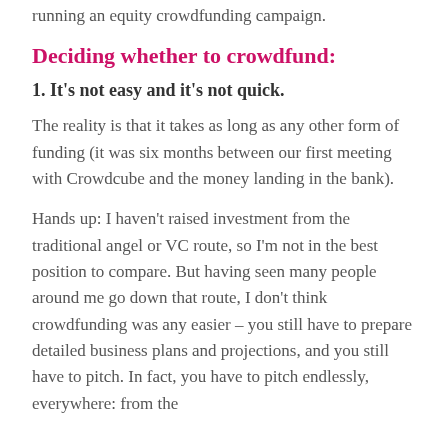running an equity crowdfunding campaign.
Deciding whether to crowdfund:
1.  It's not easy and it's not quick.
The reality is that it takes as long as any other form of funding (it was six months between our first meeting with Crowdcube and the money landing in the bank).
Hands up: I haven't raised investment from the traditional angel or VC route, so I'm not in the best position to compare. But having seen many people around me go down that route, I don't think crowdfunding was any easier – you still have to prepare detailed business plans and projections, and you still have to pitch. In fact, you have to pitch endlessly, everywhere: from the